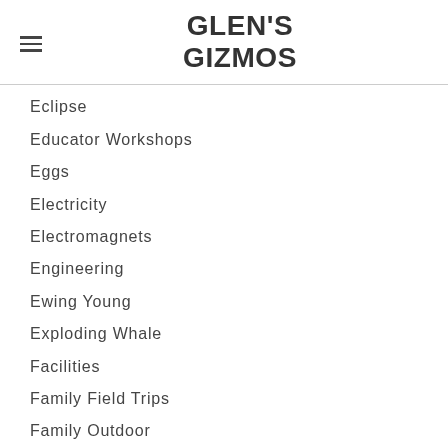GLEN'S GIZMOS
Eclipse
Educator Workshops
Eggs
Electricity
Electromagnets
Engineering
Ewing Young
Exploding Whale
Facilities
Family Field Trips
Family Outdoor Schools